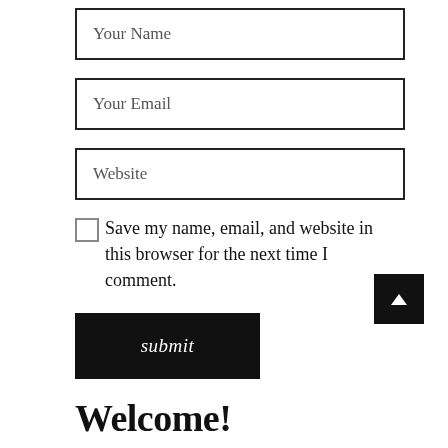Your Name
Your Email
Website
Save my name, email, and website in this browser for the next time I comment.
submit
[Figure (other): Black square scroll-to-top button with upward arrow]
Welcome!